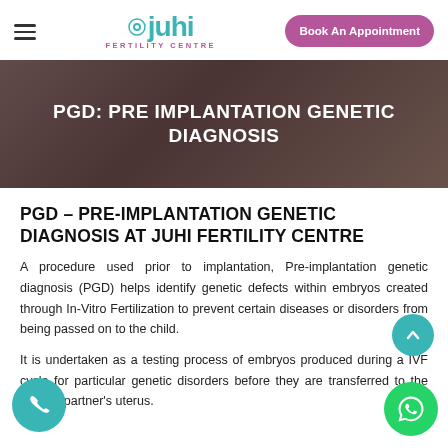Juhi Fertility Centre — Book An Appointment
[Figure (photo): Hero banner with dark overlay showing the title PGD: PRE IMPLANTATION GENETIC DIAGNOSIS over a background image of a pregnant woman]
PGD – PRE-IMPLANTATION GENETIC DIAGNOSIS AT JUHI FERTILITY CENTRE
A procedure used prior to implantation, Pre-implantation genetic diagnosis (PGD) helps identify genetic defects within embryos created through In-Vitro Fertilization to prevent certain diseases or disorders from being passed on to the child.
It is undertaken as a testing process of embryos produced during a IVF cycle for particular genetic disorders before they are transferred to the woman partner's uterus.